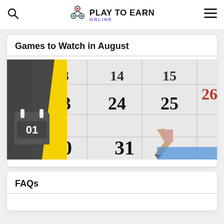Play To Earn Online — navigation bar with search and menu icons
Games to Watch in August
[Figure (photo): Calendar image showing dates 23, 24, 25, 30, 31 with a pencil pointing at 31, and a calendar icon showing '01' in the lower-left with a yellow diagonal stripe]
FAQs